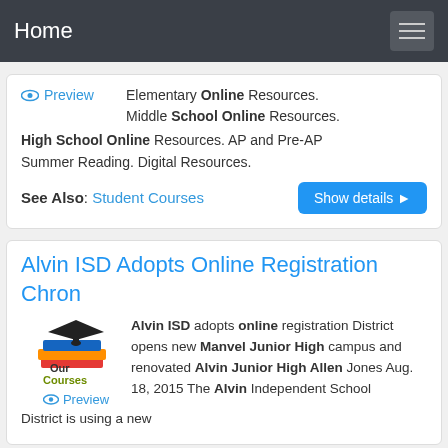Home
[Figure (screenshot): Preview icon with eye symbol and text link, beside text listing Elementary Online Resources, Middle School Online Resources, High School Online Resources. AP and Pre-AP Summer Reading. Digital Resources.]
Elementary Online Resources. Middle School Online Resources. High School Online Resources. AP and Pre-AP Summer Reading. Digital Resources.
See Also: Student Courses
Alvin ISD Adopts Online Registration Chron
[Figure (illustration): Stacked books with graduation cap icon labeled Our Courses, with Preview link below]
Alvin ISD adopts online registration District opens new Manvel Junior High campus and renovated Alvin Junior High Allen Jones Aug. 18, 2015 The Alvin Independent School District is using a new